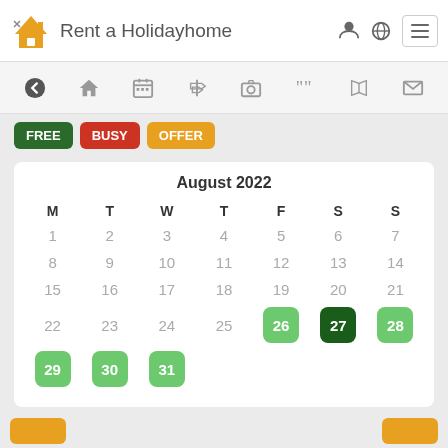Rent a Holidayhome
[Figure (screenshot): Navigation bar with back arrow, home, calendar, directions, camera, quote, map, and mail icons]
FREE  BUSY  OFFER
| M | T | W | T | F | S | S |
| --- | --- | --- | --- | --- | --- | --- |
| 1 | 2 | 3 | 4 | 5 | 6 | 7 |
| 8 | 9 | 10 | 11 | 12 | 13 | 14 |
| 15 | 16 | 17 | 18 | 19 | 20 | 21 |
| 22 | 23 | 24 | 25 | 26 | 27 | 28 |
| 29 | 30 | 31 |  |  |  |  |